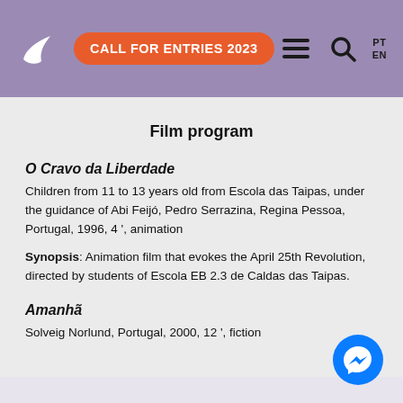CALL FOR ENTRIES 2023
Film program
O Cravo da Liberdade
Children from 11 to 13 years old from Escola das Taipas, under the guidance of Abi Feijó, Pedro Serrazina, Regina Pessoa, Portugal, 1996, 4 ', animation
Synopsis: Animation film that evokes the April 25th Revolution, directed by students of Escola EB 2.3 de Caldas das Taipas.
Amanhã
Solveig Norlund, Portugal, 2000, 12 ', fiction